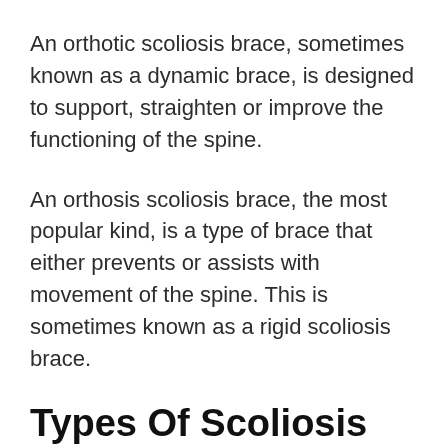An orthotic scoliosis brace, sometimes known as a dynamic brace, is designed to support, straighten or improve the functioning of the spine.
An orthosis scoliosis brace, the most popular kind, is a type of brace that either prevents or assists with movement of the spine. This is sometimes known as a rigid scoliosis brace.
Types Of Scoliosis Braces
Wilmington Brace and Boston Brace